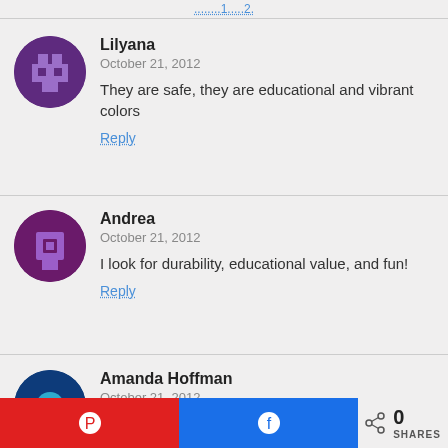........1.....2.
Lilyana
October 21, 2012
They are safe, they are educational and vibrant colors
Reply
Andrea
October 21, 2012
I look for durability, educational value, and fun!
Reply
Amanda Hoffman
October 21, 2012
safe and learning